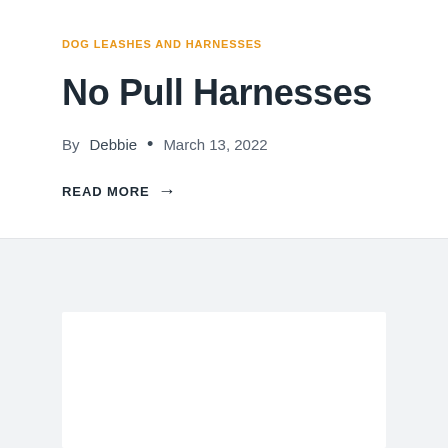DOG LEASHES AND HARNESSES
No Pull Harnesses
By Debbie • March 13, 2022
READ MORE →